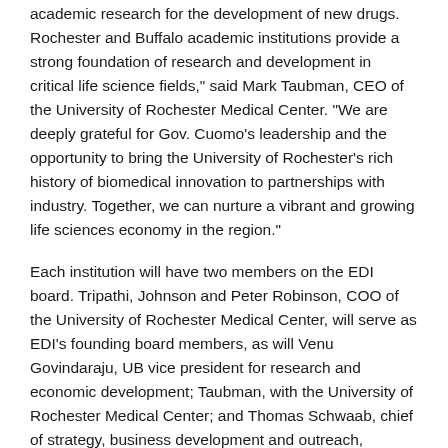academic research for the development of new drugs. Rochester and Buffalo academic institutions provide a strong foundation of research and development in critical life science fields," said Mark Taubman, CEO of the University of Rochester Medical Center. "We are deeply grateful for Gov. Cuomo's leadership and the opportunity to bring the University of Rochester's rich history of biomedical innovation to partnerships with industry. Together, we can nurture a vibrant and growing life sciences economy in the region."
Each institution will have two members on the EDI board. Tripathi, Johnson and Peter Robinson, COO of the University of Rochester Medical Center, will serve as EDI's founding board members, as will Venu Govindaraju, UB vice president for research and economic development; Taubman, with the University of Rochester Medical Center; and Thomas Schwaab, chief of strategy, business development and outreach, Roswell Park.
EDI to focus on early-stage drug discovery